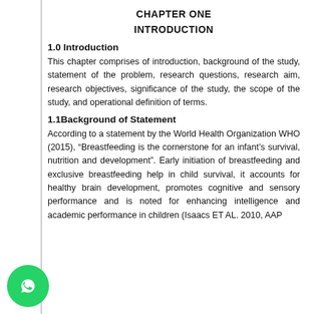CHAPTER ONE
INTRODUCTION
1.0 Introduction
This chapter comprises of introduction, background of the study, statement of the problem, research questions, research aim, research objectives, significance of the study, the scope of the study, and operational definition of terms.
1.1Background of Statement
According to a statement by the World Health Organization WHO (2015), “Breastfeeding is the cornerstone for an infant’s survival, nutrition and development”. Early initiation of breastfeeding and exclusive breastfeeding help in child survival, it accounts for healthy brain development, promotes cognitive and sensory performance and is noted for enhancing intelligence and academic performance in children (Isaacs ET AL. 2010, AAP